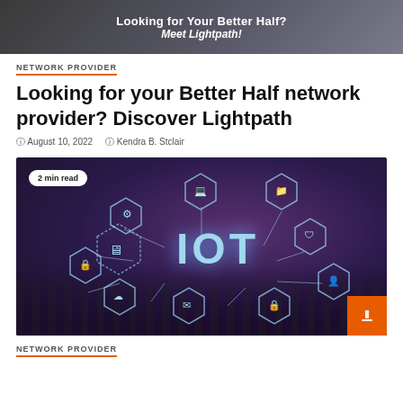[Figure (illustration): Banner image with dark gradient background showing text 'Looking for Your Better Half? Meet Lightpath!' in white bold and italic fonts]
NETWORK PROVIDER
Looking for your Better Half network provider? Discover Lightpath
August 10, 2022  Kendra B. Stclair
[Figure (photo): IoT-themed image with dark purple cityscape background featuring glowing hexagonal network icons including brain, laptop, shield, lock, cloud upload, email, microchip, and customer service icons connected by lines, with large 'IOT' text in center. Badge shows '2 min read'. Orange button in bottom right corner.]
NETWORK PROVIDER